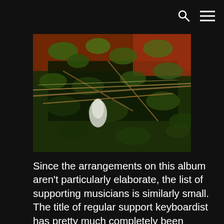🔍 ☰
[Figure (photo): Outdoor photo showing green foliage/vines with branches, a plastic bag or white object, and red/dark background elements]
Since the arrangements on this album aren't particularly elaborate, the list of supporting musicians is similarly small. The title of regular support keyboardist has pretty much completely been transferred over to Yoshitaka Mikuni at this point (we saw him come in for some of the tracks on Smile), who has been joining them for live performances as well since their songs have been becoming more keyboard-heavy as of late. The one exception is Tsuioku no